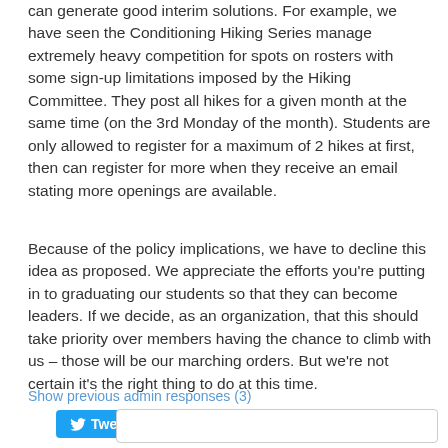can generate good interim solutions. For example, we have seen the Conditioning Hiking Series manage extremely heavy competition for spots on rosters with some sign-up limitations imposed by the Hiking Committee. They post all hikes for a given month at the same time (on the 3rd Monday of the month). Students are only allowed to register for a maximum of 2 hikes at first, then can register for more when they receive an email stating more openings are available.
Because of the policy implications, we have to decline this idea as proposed. We appreciate the efforts you're putting in to graduating our students so that they can become leaders. If we decide, as an organization, that this should take priority over members having the chance to climb with us – those will be our marching orders. But we're not certain it's the right thing to do at this time.
Show previous admin responses (3)